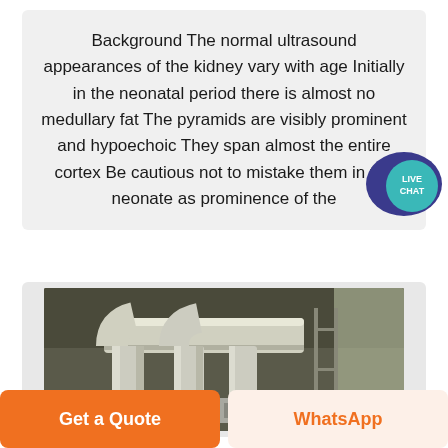Background The normal ultrasound appearances of the kidney vary with age Initially in the neonatal period there is almost no medullary fat The pyramids are visibly prominent and hypoechoic They span almost the entire cortex Be cautious not to mistake them in the neonate as prominence of the
[Figure (photo): Industrial photo showing large white cylindrical pipes and equipment in an industrial facility or factory setting]
Get a Quote
WhatsApp